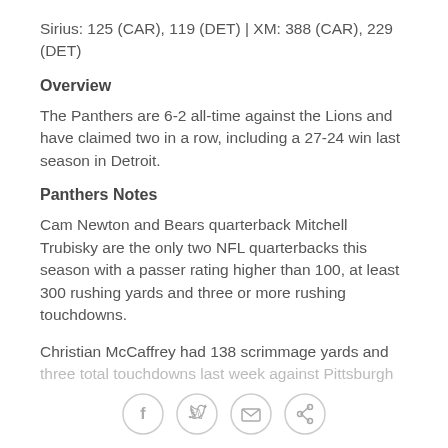Sirius: 125 (CAR), 119 (DET) | XM: 388 (CAR), 229 (DET)
Overview
The Panthers are 6-2 all-time against the Lions and have claimed two in a row, including a 27-24 win last season in Detroit.
Panthers Notes
Cam Newton and Bears quarterback Mitchell Trubisky are the only two NFL quarterbacks this season with a passer rating higher than 100, at least 300 rushing yards and three or more rushing touchdowns.
Christian McCaffrey had 138 scrimmage yards and three total touchdowns last week against Pittsburgh
[Figure (other): Social sharing icons: Facebook, Twitter, Email, Link]